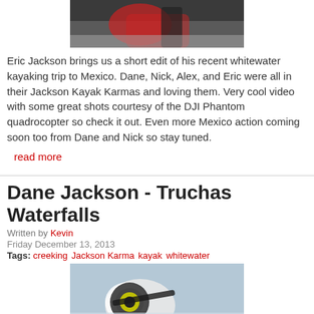[Figure (photo): Whitewater kayaker in red gear paddling in turbulent water, cropped at top]
Eric Jackson brings us a short edit of his recent whitewater kayaking trip to Mexico. Dane, Nick, Alex, and Eric were all in their Jackson Kayak Karmas and loving them. Very cool video with some great shots courtesy of the DJI Phantom quadrocopter so check it out. Even more Mexico action coming soon too from Dane and Nick so stay tuned.
read more
Dane Jackson - Truchas Waterfalls
Written by Kevin
Friday December 13, 2013
Tags: creeking Jackson Karma kayak whitewater
[Figure (photo): Close-up of a kayak paddle with Jackson Kayak logo in whitewater rapids]